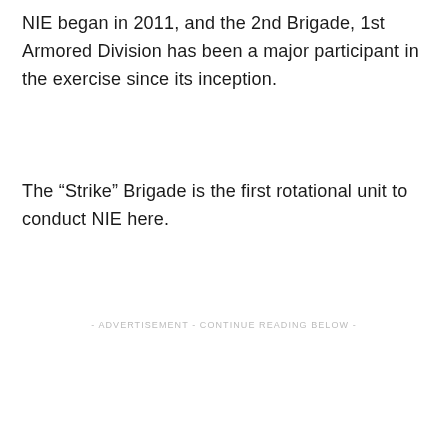NIE began in 2011, and the 2nd Brigade, 1st Armored Division has been a major participant in the exercise since its inception.
The “Strike” Brigade is the first rotational unit to conduct NIE here.
- ADVERTISEMENT - CONTINUE READING BELOW -